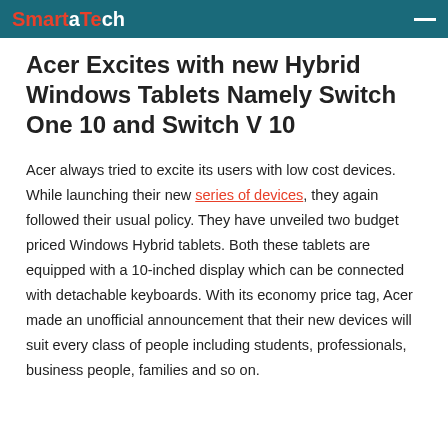SmartaTech
Acer Excites with new Hybrid Windows Tablets Namely Switch One 10 and Switch V 10
Acer always tried to excite its users with low cost devices. While launching their new series of devices, they again followed their usual policy. They have unveiled two budget priced Windows Hybrid tablets. Both these tablets are equipped with a 10-inched display which can be connected with detachable keyboards. With its economy price tag, Acer made an unofficial announcement that their new devices will suit every class of people including students, professionals, business people, families and so on.